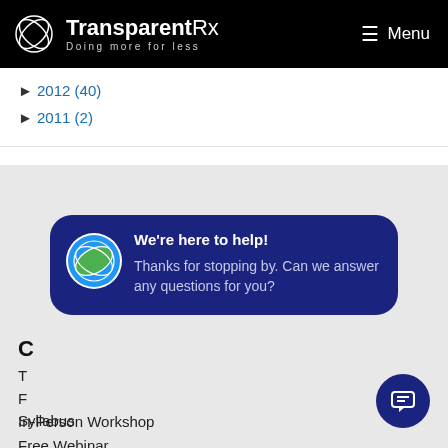TransparentRx — Doing more for less | Menu
► 2012 (40)
► 2011 (2)
[Figure (screenshot): Chat popup widget with TransparentRx logo icon, heading 'We're here to help!' and body text 'Thanks for stopping by. Can we answer any questions for you?']
C
T
F
In-Person Workshop
Syllabus
Free Webinar
Supervisor Letter (CPBS eLearning)